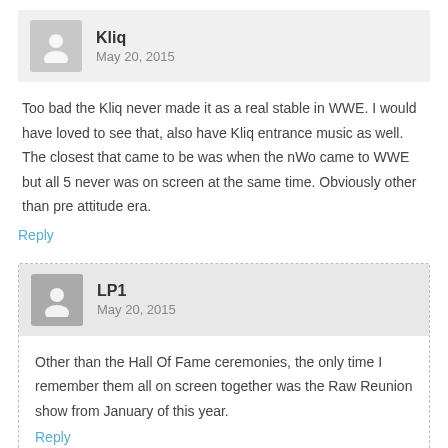Kliq
May 20, 2015
Too bad the Kliq never made it as a real stable in WWE. I would have loved to see that, also have Kliq entrance music as well. The closest that came to be was when the nWo came to WWE but all 5 never was on screen at the same time. Obviously other than pre attitude era.
Reply
LP1
May 20, 2015
Other than the Hall Of Fame ceremonies, the only time I remember them all on screen together was the Raw Reunion show from January of this year.
Reply